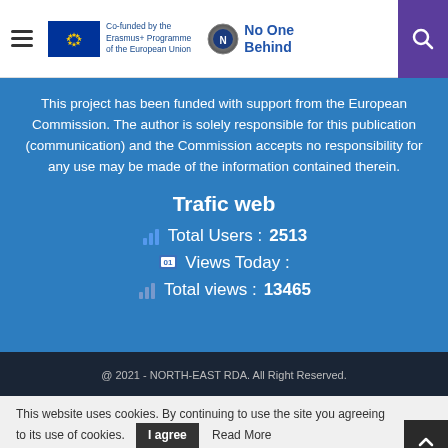Co-funded by the Erasmus+ Programme of the European Union | No One Behind
This project has been funded with support from the European Commission. The author is solely responsible for this publication (communication) and the Commission accepts no responsibility for any use may be made of the information contained therein.
Trafic web
Total Users : 2513
Views Today :
Total views : 13465
@ 2021 - NORTH-EAST RDA. All Right Reserved.
This website uses cookies. By continuing to use the site you agreeing to its use of cookies. I agree Read More